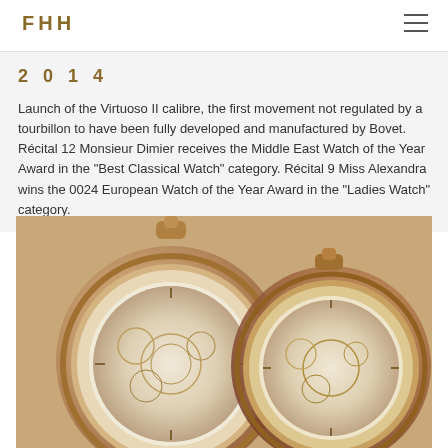FHH
2014
Launch of the Virtuoso II calibre, the first movement not regulated by a tourbillon to have been fully developed and manufactured by Bovet. Récital 12 Monsieur Dimier receives the Middle East Watch of the Year Award in the "Best Classical Watch" category. Récital 9 Miss Alexandra wins the 0024 European Watch of the Year Award in the "Ladies Watch" category.
[Figure (photo): Two ornate Bovet pocket watches with rose gold cases shown side by side, featuring intricate mechanical movements visible through the dial]